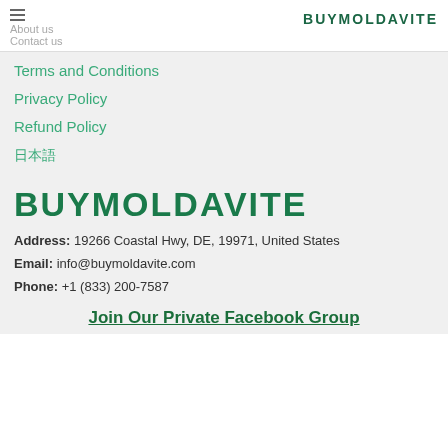About us | Contact us | BUYMOLDAVITE
Terms and Conditions
Privacy Policy
Refund Policy
日本語
BUYMOLDAVITE
Address: 19266 Coastal Hwy, DE, 19971, United States
Email: info@buymoldavite.com
Phone: +1 (833) 200-7587
Join Our Private Facebook Group